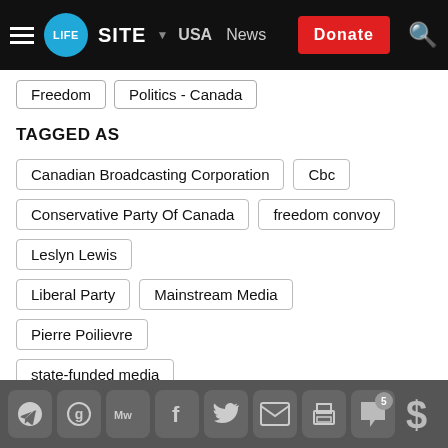LifeSiteNews — USA | News | Donate
Freedom
Politics - Canada
TAGGED AS
Canadian Broadcasting Corporation
Cbc
Conservative Party Of Canada
freedom convoy
Leslyn Lewis
Liberal Party
Mainstream Media
Pierre Poilievre
state-funded media
SHARE
5 comments